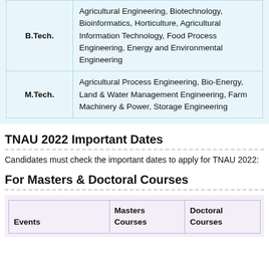| Degree | Specializations |
| --- | --- |
| B.Tech. | Agricultural Engineering, Biotechnology, Bioinformatics, Horticulture, Agricultural Information Technology, Food Process Engineering, Energy and Environmental Engineering |
| M.Tech. | Agricultural Process Engineering, Bio-Energy, Land & Water Management Engineering, Farm Machinery & Power, Storage Engineering |
TNAU 2022 Important Dates
Candidates must check the important dates to apply for TNAU 2022:
For Masters & Doctoral Courses
| Events | Masters Courses | Doctoral Courses |
| --- | --- | --- |